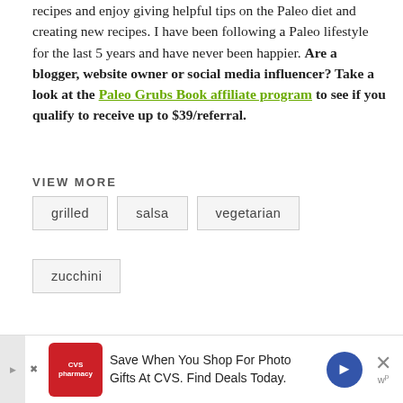recipes and enjoy giving helpful tips on the Paleo diet and creating new recipes. I have been following a Paleo lifestyle for the last 5 years and have never been happier. Are a blogger, website owner or social media influencer? Take a look at the Paleo Grubs Book affiliate program to see if you qualify to receive up to $39/referral.
VIEW MORE
grilled
salsa
vegetarian
zucchini
You May Also Like
[Figure (other): Advertisement banner for CVS Pharmacy: Save When You Shop For Photo Gifts At CVS. Find Deals Today.]